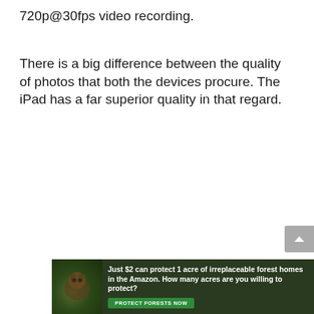720p@30fps video recording.
There is a big difference between the quality of photos that both the devices procure. The iPad has a far superior quality in that regard.
[Figure (other): Advertisement banner with forest/nature background and an animal. Text reads: 'Just $2 can protect 1 acre of irreplaceable forest homes in the Amazon. How many acres are you willing to protect?' with a green 'PROTECT FORESTS NOW' button.]